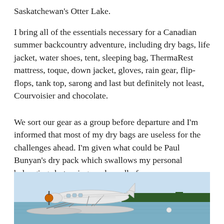Saskatchewan's Otter Lake.
I bring all of the essentials necessary for a Canadian summer backcountry adventure, including dry bags, life jacket, water shoes, tent, sleeping bag, ThermaRest mattress, toque, down jacket, gloves, rain gear, flip-flops, tank top, sarong and last but definitely not least, Courvoisier and chocolate.
We sort our gear as a group before departure and I'm informed that most of my dry bags are useless for the challenges ahead. I'm given what could be Paul Bunyan's dry pack which swallows my personal belongings but swings awkwardly from my narrow shoulders. It'll have to do.
[Figure (photo): A white floatplane (seaplane) on a calm lake with trees in the background, viewed from a low angle showing the floats on the water.]